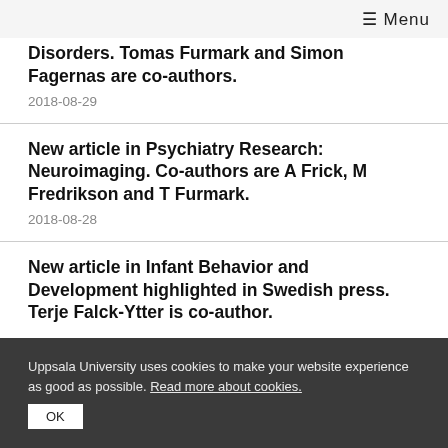☰ Menu
Disorders. Tomas Furmark and Simon Fagernas are co-authors.
2018-08-29
New article in Psychiatry Research: Neuroimaging. Co-authors are A Frick, M Fredrikson and T Furmark.
2018-08-28
New article in Infant Behavior and Development highlighted in Swedish press. Terje Falck-Ytter is co-author.
Uppsala University uses cookies to make your website experience as good as possible. Read more about cookies.